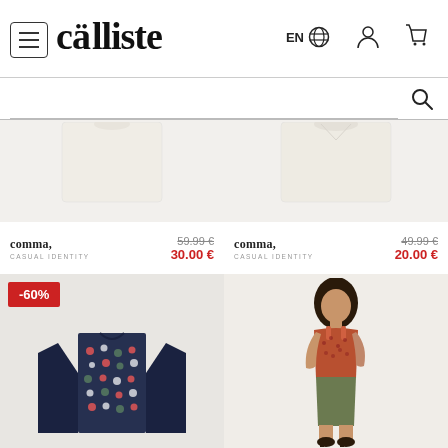[Figure (screenshot): Calliste e-commerce website header with logo, navigation icons (EN/globe, user, cart), and search bar]
[Figure (photo): Partial view of white/cream top, cropped - product listing item 1 with Comma Casual Identity brand]
comma, CASUAL IDENTITY | 59.99 € | 30.00 €
[Figure (photo): Partial view of white/cream top, cropped - product listing item 2 with Comma Casual Identity brand]
comma, CASUAL IDENTITY | 49.99 € | 20.00 €
[Figure (photo): Patterned long-sleeve top with navy sleeves and dot pattern front, -60% discount badge]
[Figure (photo): Female model wearing orange sleeveless top and olive/khaki mini skirt with heeled sandals]